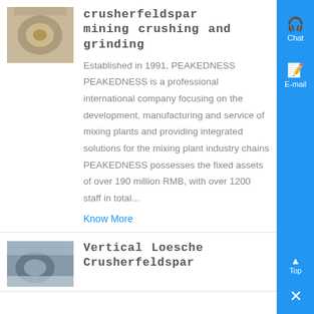[Figure (photo): Industrial mining/crushing equipment, top-down view of circular grinder]
crusherfeldspar mining crushing and grinding
Established in 1991, PEAKEDNESS PEAKEDNESS is a professional international company focusing on the development, manufacturing and service of mixing plants and providing integrated solutions for the mixing plant industry chains PEAKEDNESS possesses the fixed assets of over 190 million RMB, with over 1200 staff in total...
Know More
[Figure (photo): Industrial vertical Loesche crusher feldspar equipment]
Vertical Loesche Crusherfeldspar